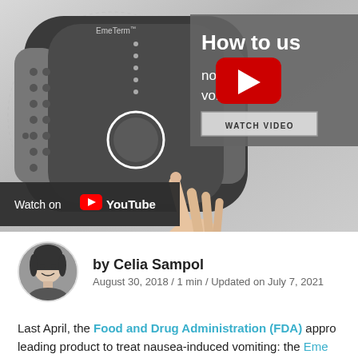[Figure (screenshot): YouTube thumbnail showing EmeTerm wearable anti-nausea device being touched by a hand, with text 'How to us[e]' and 'novative vomiting devi[ce]' on gray overlay, a red YouTube play button, a 'WATCH VIDEO' button, and a 'Watch on YouTube' bar at the bottom.]
by Celia Sampol
August 30, 2018 / 1 min / Updated on July 7, 2021
Last April, the Food and Drug Administration (FDA) appro[ved a] leading product to treat nausea-induced vomiting: the Eme[Term]